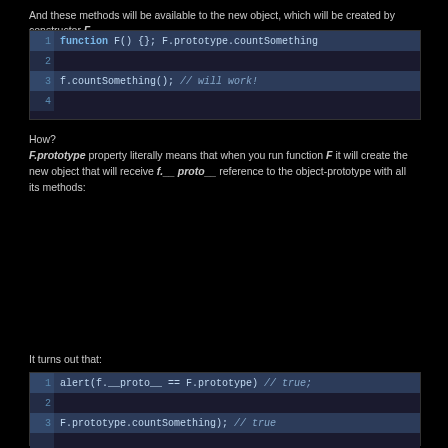And these methods will be available to the new object, which will be created by constructor F.
[Figure (screenshot): Code block showing: 1 function F() {}; F.prototype.countSomething  2 (empty)  3 f.countSomething(); // will work!  4 (empty)]
How?
F.prototype property literally means that when you run function F it will create the new object that will receive f.__proto__ reference to the object-prototype with all its methods:
It turns out that:
[Figure (screenshot): Code block showing: 1 alert(f.__proto__ == F.prototype) // true;  2 (empty)  3 F.prototype.countSomething); // true  (empty line)  F.prototype.countSomething); // true]